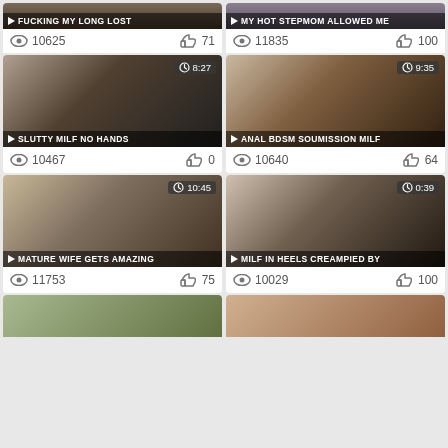[Figure (screenshot): Video thumbnail grid page showing adult video thumbnails with titles, view counts, like counts, and duration badges. Row 0 partial: 'FUCKING MY LONG LOST' (10625 views, 71 likes), 'MY HOT STEPMOM ALLOWED ME' (11835 views, 100 likes). Row 1: 'SLUTTY MILF NO HANDS' 8:27 (10467 views, 0 likes), 'ANAL BDSM SOUMISSION MILF' 9:35 (10640 views, 64 likes). Row 2: 'MATURE WIFE GETS AMAZING' 10:45 (11753 views, 75 likes), 'MILF IN HEELS CREAMPIED BY' 0:39 (10029 views, 100 likes). Row 3 partial: two more thumbnails cut off at bottom.]